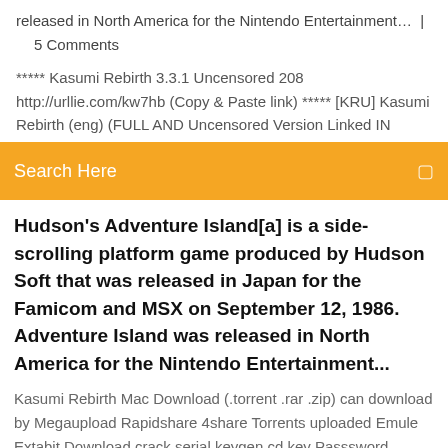released in North America for the Nintendo Entertainment… | 5 Comments
***** Kasumi Rebirth 3.3.1 Uncensored 208 http://urllie.com/kw7hb (Copy & Paste link) ***** [KRU] Kasumi Rebirth (eng) (FULL AND Uncensored Version Linked IN
Search Here
Hudson's Adventure Island[a] is a side-scrolling platform game produced by Hudson Soft that was released in Japan for the Famicom and MSX on September 12, 1986. Adventure Island was released in North America for the Nintendo Entertainment...
Kasumi Rebirth Mac Download (.torrent .rar .zip) can download by Megaupload Rapidshare 4share Torrents uploaded Emule Extabit Download crack serial keygen cd key Passsword Choose from our Hardcore kasumi rebirth v3 27 full version games. All games are listed in this genres and similar